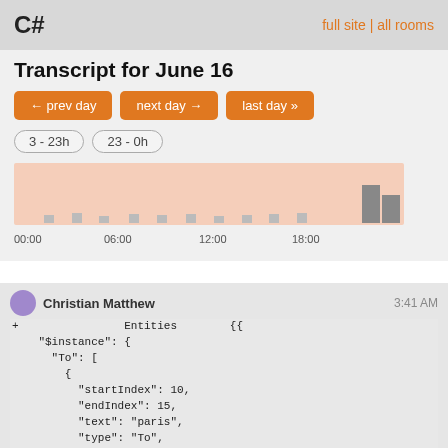C# | full site | all rooms
Transcript for June 16
← prev day
next day →
last day »
3 - 23h
23 - 0h
[Figure (bar-chart): Activity bar chart showing chat activity over the day from 00:00 to 18:00+, with light salmon background and gray bars indicating message density at various hours. Higher activity visible near 18:00.]
Christian Matthew 3:41 AM
+                Entities        {{
    "$instance": {
      "To": [
        {
          "startIndex": 10,
          "endIndex": 15,
          "text": "paris",
          "type": "To",
          "score": 0.987954
        }
      ]
    },
    "To": [
      {
        "$instance": {
          "Airport": [
            {
              "startIndex": 10,